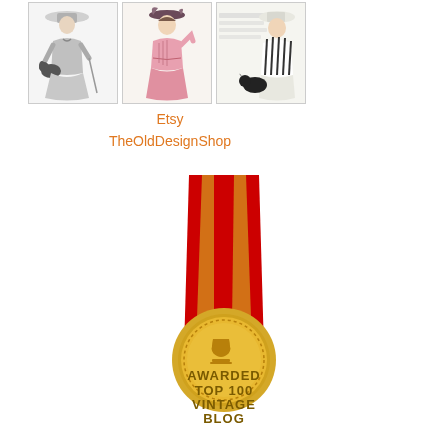[Figure (photo): Three vintage fashion illustration thumbnails arranged in a row showing early 20th century women in Edwardian style clothing]
Etsy
TheOldDesignShop
[Figure (illustration): Gold medal award badge with red ribbon, text reads: AWARDED TOP 100 VINTAGE BLOG]